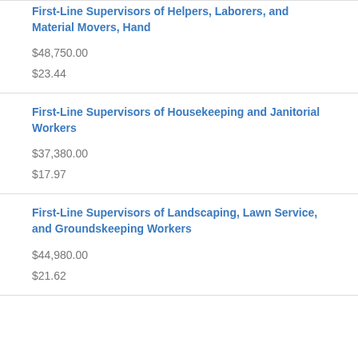First-Line Supervisors of Helpers, Laborers, and Material Movers, Hand
$48,750.00
$23.44
First-Line Supervisors of Housekeeping and Janitorial Workers
$37,380.00
$17.97
First-Line Supervisors of Landscaping, Lawn Service, and Groundskeeping Workers
$44,980.00
$21.62